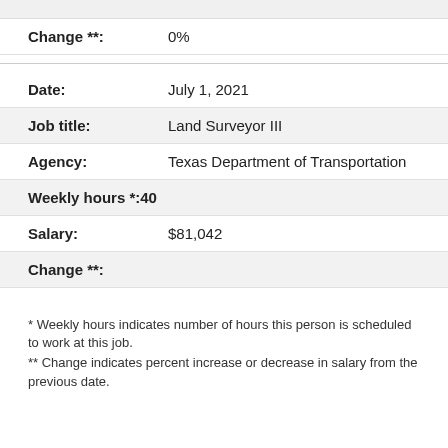| Change **: | 0% |
| Date: | July 1, 2021 |
| Job title: | Land Surveyor III |
| Agency: | Texas Department of Transportation |
| Weekly hours *: | 40 |
| Salary: | $81,042 |
| Change **: |  |
* Weekly hours indicates number of hours this person is scheduled to work at this job.
** Change indicates percent increase or decrease in salary from the previous date.